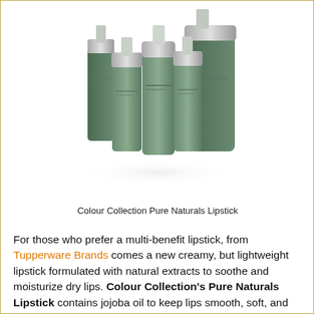[Figure (photo): Group of green and silver Colour Collection Pure Naturals Lipstick products arranged together on a white background]
Colour Collection Pure Naturals Lipstick
For those who prefer a multi-benefit lipstick, from Tupperware Brands comes a new creamy, but lightweight lipstick formulated with natural extracts to soothe and moisturize dry lips. Colour Collection's Pure Naturals Lipstick contains jojoba oil to keep lips smooth, soft, and moisturized, avocado oil that helps lips become more plump and full, shea butter to help heal dry and chapped lips, and cupuacu butter that helps restore lip elasticity to avoid wrinkles and lines. The best thing about Colour Collection's